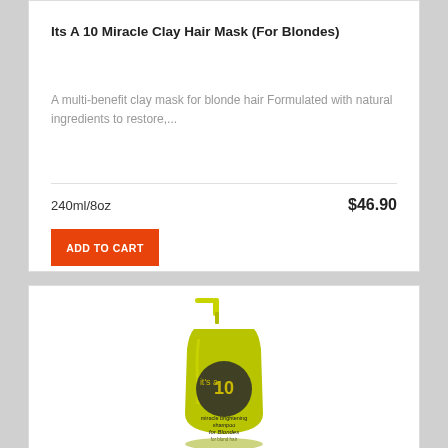Its A 10 Miracle Clay Hair Mask (For Blondes)
A multi-benefit clay mask for blonde hair Formulated with natural ingredients to restore,...
240ml/8oz
$46.90
ADD TO CART
[Figure (photo): Yellow/green pump bottle of It's A 10 Miracle Brightening Shampoo for Blondes]